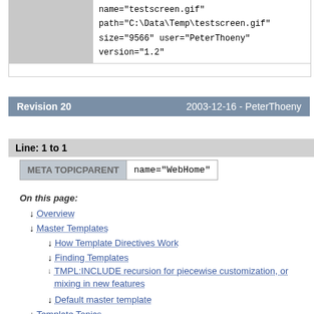name="testscreen.gif" path="C:\Data\Temp\testscreen.gif" size="9566" user="PeterThoeny" version="1.2"
Revision 20    2003-12-16 - PeterThoeny
Line: 1 to 1
| META TOPICPARENT | name="WebHome" |
| --- | --- |
On this page:
Overview
Master Templates
How Template Directives Work
Finding Templates
TMPL:INCLUDE recursion for piecewise customization, or mixing in new features
Default master template
Template Topics